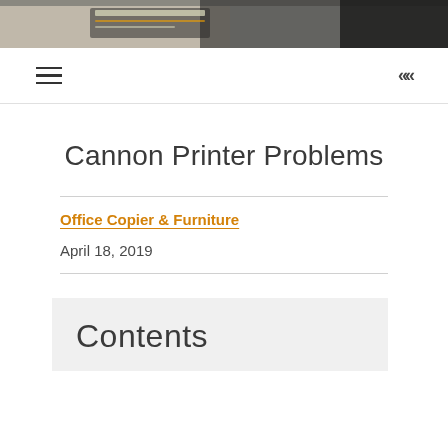[Figure (photo): Top banner image showing a partial view of a laptop and phone on a desk, grayscale/muted tones]
≡  «
Cannon Printer Problems
Office Copier & Furniture
April 18, 2019
Contents